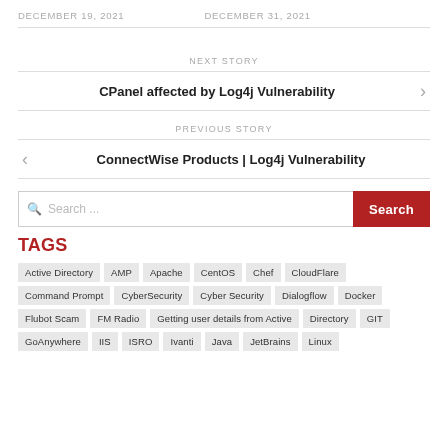DECEMBER 19, 2021    DECEMBER 31, 2021
NEXT STORY
CPanel affected by Log4j Vulnerability
PREVIOUS STORY
ConnectWise Products | Log4j Vulnerability
Search ...
TAGS
Active Directory
AMP
Apache
CentOS
Chef
CloudFlare
Command Prompt
CyberSecurity
Cyber Security
Dialogflow
Docker
Flubot Scam
FM Radio
Getting user details from Active Directory
GIT
GoAnywhere
IIS
ISRO
Ivanti
Java
JetBrains
Linux